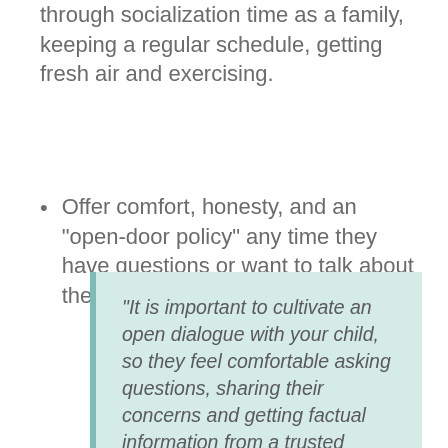through socialization time as a family, keeping a regular schedule, getting fresh air and exercising.
Offer comfort, honesty, and an “open-door policy” any time they have questions or want to talk about the coronavirus.
“It is important to cultivate an open dialogue with your child, so they feel comfortable asking questions, sharing their concerns and getting factual information from a trusted source – their parent.” —